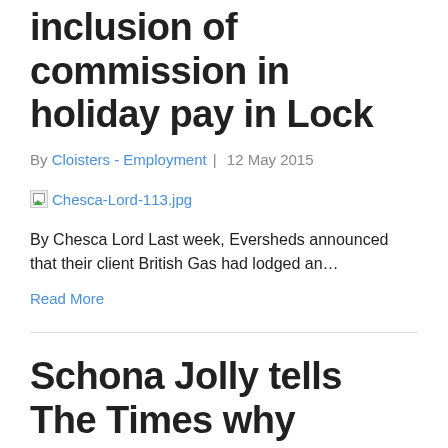inclusion of commission in holiday pay in Lock
By Cloisters - Employment | 12 May 2015
[Figure (other): Broken image placeholder for Chesca-Lord-113.jpg]
By Chesca Lord Last week, Eversheds announced that their client British Gas had lodged an…
Read More
Schona Jolly tells The Times why pressure must be put on the government to reveal